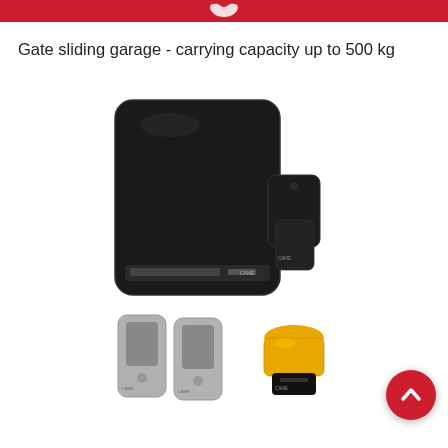Gate sliding garage - carrying capacity up to 500 kg
[Figure (photo): Product kit photo showing a black sliding gate motor/controller unit, a magnetic contact sensor (two black pieces), two grey remote control fobs, and a yellow warning/signal lamp unit with a black base. All components are from the Came brand.]